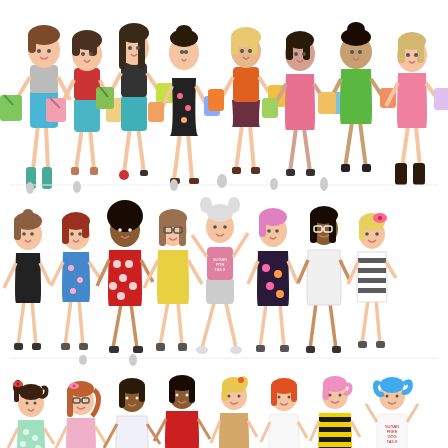[Figure (illustration): Three rows of cartoon-style fashion illustration girls. Top row: approximately 8 stylized women in colorful outfits (dresses, tops, pants) carrying shopping bags in various colors. Middle row: approximately 8 cartoon girls with exaggerated big eyes and long legs wearing various dresses and outfits including black dress, blue floral dress, red polka dot dress, yellow dress, pink graphic tee, floral dress, white dress, and striped dress. Bottom row: approximately 8 smaller cartoon girls in various outfits including mint polka dot dress, pink dress, white dress, red mini dress, tan dress, white dress, striped dress, and white graphic tee with blue pigtails. All figures are illustrated in a cute, whimsical style on a white background.]